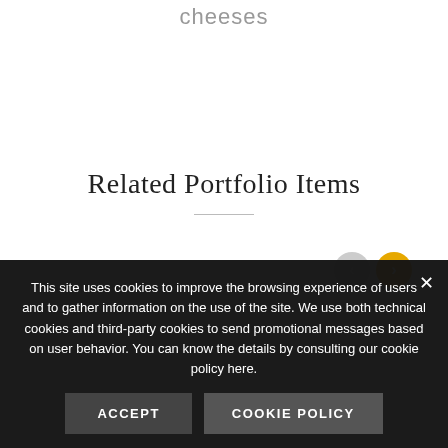cheeses
Related Portfolio Items
This site uses cookies to improve the browsing experience of users and to gather information on the use of the site. We use both technical cookies and third-party cookies to send promotional messages based on user behavior. You can know the details by consulting our cookie policy here.
ACCEPT
COOKIE POLICY